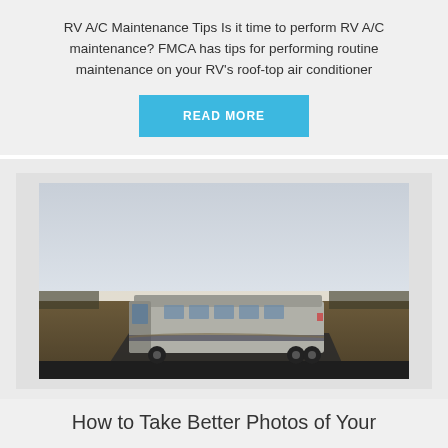RV A/C Maintenance Tips Is it time to perform RV A/C maintenance? FMCA has tips for performing routine maintenance on your RV's roof-top air conditioner
READ MORE
[Figure (photo): A large motorhome/RV parked on a road in an open field with a clear sky in the background]
How to Take Better Photos of Your